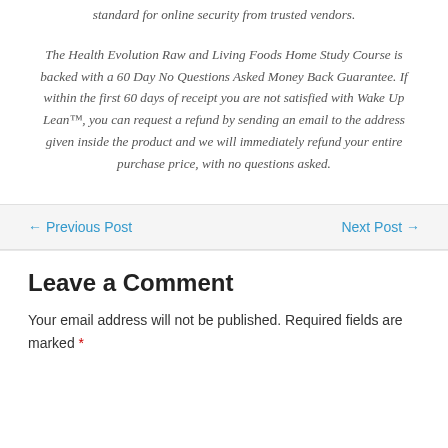standard for online security from trusted vendors.
The Health Evolution Raw and Living Foods Home Study Course is backed with a 60 Day No Questions Asked Money Back Guarantee. If within the first 60 days of receipt you are not satisfied with Wake Up Lean™, you can request a refund by sending an email to the address given inside the product and we will immediately refund your entire purchase price, with no questions asked.
← Previous Post
Next Post →
Leave a Comment
Your email address will not be published. Required fields are marked *